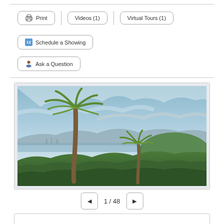Print | Videos (1) | Virtual Tours (1)
Schedule a Showing
Ask a Question
[Figure (photo): Outdoor landscape photo showing two tall palm trees in the foreground, lush green shrubs and vegetation in the middle ground, with a panoramic view of a coastal city and hills in the background under a partly cloudy blue sky.]
1 / 48